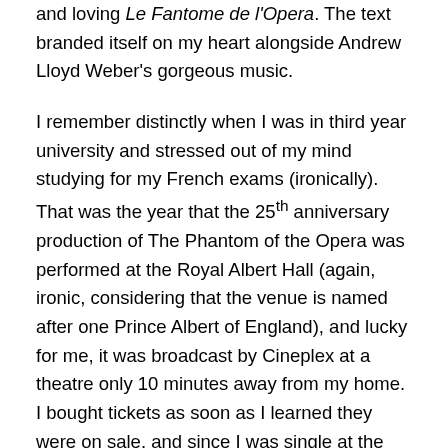and loving Le Fantome de l'Opera. The text branded itself on my heart alongside Andrew Lloyd Weber's gorgeous music.
I remember distinctly when I was in third year university and stressed out of my mind studying for my French exams (ironically). That was the year that the 25th anniversary production of The Phantom of the Opera was performed at the Royal Albert Hall (again, ironic, considering that the venue is named after one Prince Albert of England), and lucky for me, it was broadcast by Cineplex at a theatre only 10 minutes away from my home. I bought tickets as soon as I learned they were on sale, and since I was single at the time, I dragged my mom with me to the theatre. I was truly and utterly blown away by the production, and I became attached to the portrayal of the characters by Sierra Boggess, Hadley Fraser and most particularly Ramin Karimloo. Karimloo performed as The